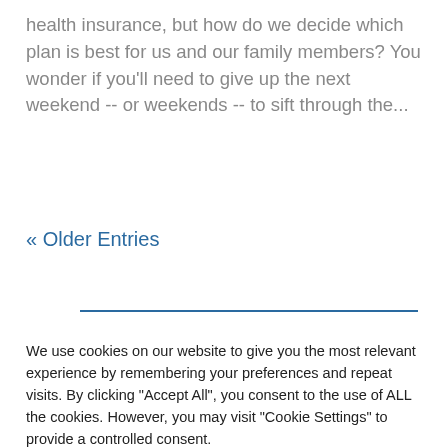health insurance, but how do we decide which plan is best for us and our family members? You wonder if you'll need to give up the next weekend -- or weekends -- to sift through the...
« Older Entries
We use cookies on our website to give you the most relevant experience by remembering your preferences and repeat visits. By clicking "Accept All", you consent to the use of ALL the cookies. However, you may visit "Cookie Settings" to provide a controlled consent.